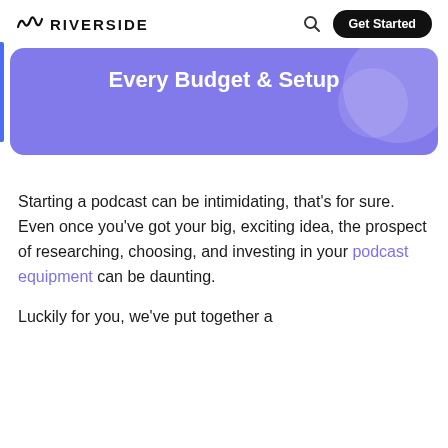RIVERSIDE  [search] [Get Started]
Every Budget & Setup
Starting a podcast can be intimidating, that's for sure. Even once you've got your big, exciting idea, the prospect of researching, choosing, and investing in your podcast equipment can be daunting.
Luckily for you, we've put together a